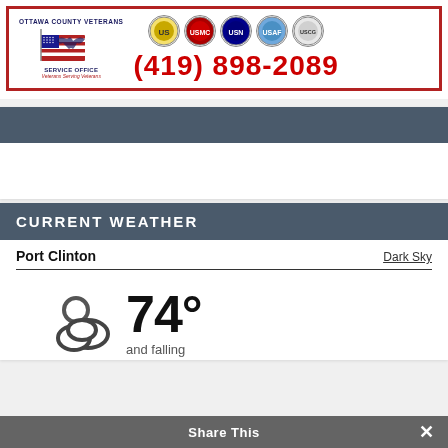[Figure (infographic): Ottawa County Veterans Service Office advertisement banner with military branch seals and phone number (419) 898-2089]
[Figure (other): Gray header bar section (empty content area)]
CURRENT WEATHER
Port Clinton    Dark Sky
[Figure (other): Partly cloudy weather icon with temperature 74° and text 'and falling']
Share This